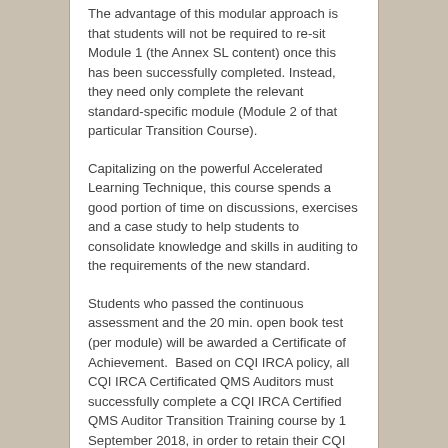The advantage of this modular approach is that students will not be required to re-sit Module 1 (the Annex SL content) once this has been successfully completed. Instead, they need only complete the relevant standard-specific module (Module 2 of that particular Transition Course).
Capitalizing on the powerful Accelerated Learning Technique, this course spends a good portion of time on discussions, exercises and a case study to help students to consolidate knowledge and skills in auditing to the requirements of the new standard.
Students who passed the continuous assessment and the 20 min. open book test (per module) will be awarded a Certificate of Achievement.  Based on CQI IRCA policy, all CQI IRCA Certificated QMS Auditors must successfully complete a CQI IRCA Certified QMS Auditor Transition Training course by 1 September 2018, in order to retain their CQI IRCA QMS registration.